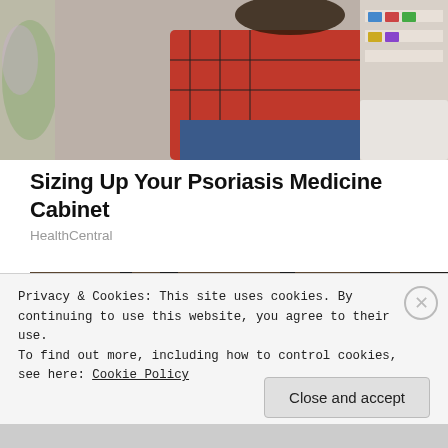[Figure (photo): Top portion of a photo showing a person in a red plaid shirt near shelves with medical/pharmacy products]
Sizing Up Your Psoriasis Medicine Cabinet
HealthCentral
[Figure (photo): Interior photo of what appears to be a TV set or decorated room with arched doorways, fireplace, framed pictures on walls, and 'AD-IVERSARY!' banner visible]
Privacy & Cookies: This site uses cookies. By continuing to use this website, you agree to their use.
To find out more, including how to control cookies, see here: Cookie Policy
Close and accept